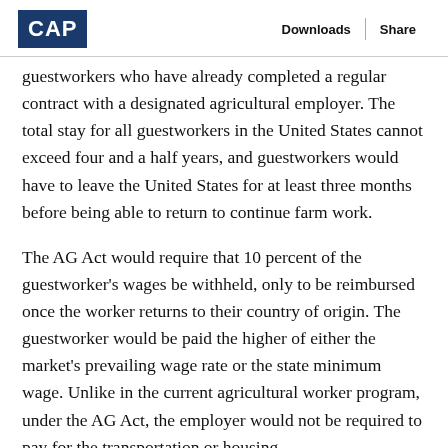CAP | Downloads | Share
guestworkers who have already completed a regular contract with a designated agricultural employer. The total stay for all guestworkers in the United States cannot exceed four and a half years, and guestworkers would have to leave the United States for at least three months before being able to return to continue farm work.
The AG Act would require that 10 percent of the guestworker's wages be withheld, only to be reimbursed once the worker returns to their country of origin. The guestworker would be paid the higher of either the market's prevailing wage rate or the state minimum wage. Unlike in the current agricultural worker program, under the AG Act, the employer would not be required to pay for the transportation or housing